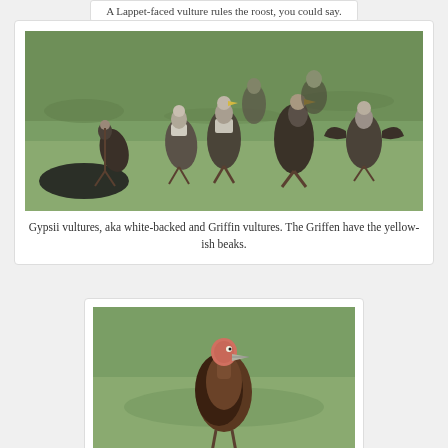A Lappet-faced vulture rules the roost, you could say.
[Figure (photo): Group of Gypsii vultures (white-backed and Griffin vultures) standing on green grass, the Griffin vultures have yellow-ish beaks.]
Gypsii vultures, aka white-backed and Griffin vultures. The Griffen have the yellow-ish beaks.
[Figure (photo): A single brown vulture with a pink/red head standing on green grass, viewed from the side.]